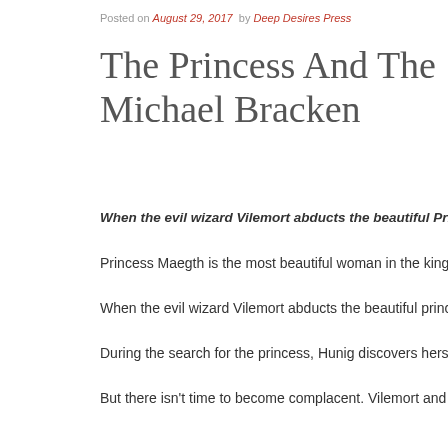Posted on August 29, 2017 by Deep Desires Press
The Princess And The Swine… Michael Bracken
When the evil wizard Vilemort abducts the beautiful Princess Maeg…
Princess Maegth is the most beautiful woman in the kingdom, and,…
When the evil wizard Vilemort abducts the beautiful princess, Huni…
During the search for the princess, Hunig discovers herself. After r…
But there isn't time to become complacent. Vilemort and his dwarve…
The Princess And The Swineherd is a 6,400-word short story.
Purchase your copy now: